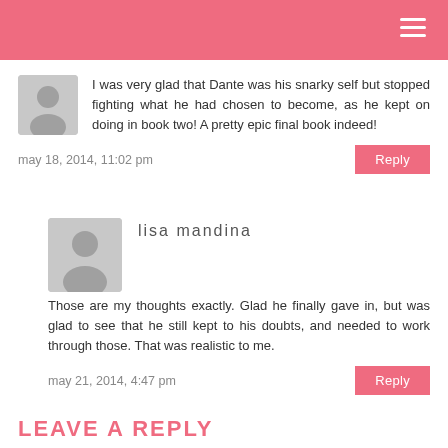I was very glad that Dante was his snarky self but stopped fighting what he had chosen to become, as he kept on doing in book two! A pretty epic final book indeed!
may 18, 2014, 11:02 pm
Reply
lisa mandina
Those are my thoughts exactly. Glad he finally gave in, but was glad to see that he still kept to his doubts, and needed to work through those. That was realistic to me.
may 21, 2014, 4:47 pm
Reply
LEAVE A REPLY